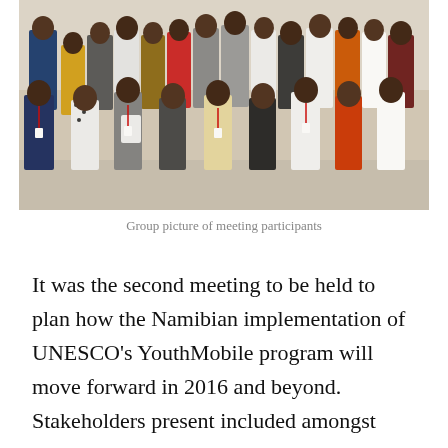[Figure (photo): Group photo of meeting participants standing together indoors in a large hall, diverse group of approximately 30 people, formally and semi-formally dressed.]
Group picture of meeting participants
It was the second meeting to be held to plan how the Namibian implementation of UNESCO's YouthMobile program will move forward in 2016 and beyond. Stakeholders present included amongst others: